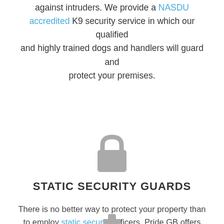against intruders. We provide a NASDU accredited K9 security service in which our qualified and highly trained dogs and handlers will guard and protect your premises.
[Figure (illustration): Gray padlock icon]
STATIC SECURITY GUARDS
There is no better way to protect your property than to employ static security officers. Pride GB offers highly skilled, dedicated, fully licensed, and uniformed security officers to safeguard your premises at any time.
[Figure (illustration): Gray iron/flat iron icon, partially visible at bottom of page]